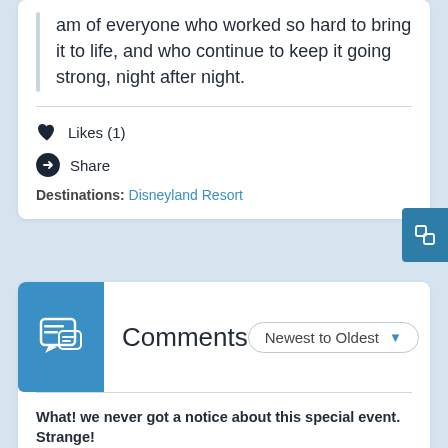am of everyone who worked so hard to bring it to life, and who continue to keep it going strong, night after night.
Likes (1)
Share
Destinations: Disneyland Resort
Comments
Newest to Oldest
What! we never got a notice about this special event. Strange!
Joyce on May 19, 2013 at 11:07 am